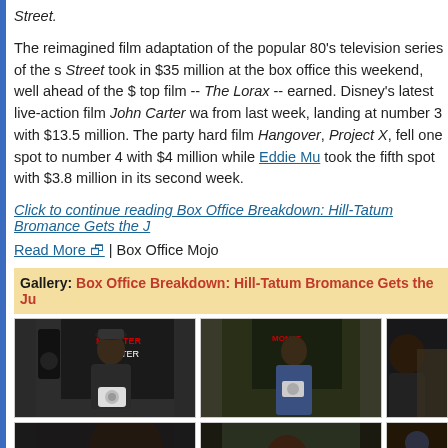Street.
The reimagined film adaptation of the popular 80's television series of the s Street took in $35 million at the box office this weekend, well ahead of the $ top film -- The Lorax -- earned. Disney's latest live-action film John Carter wa from last week, landing at number 3 with $13.5 million. The party hard film Hangover, Project X, fell one spot to number 4 with $4 million while Eddie Mu took the fifth spot with $3.8 million in its second week.
Click to continue reading Box Office Breakdown: Hill-Tatum Bromance Gets the J
Read More | Box Office Mojo
Gallery: Box Office Breakdown: Hill-Tatum Bromance Gets the Ju
[Figure (photo): Photo gallery row 1: three photos of people at an event with Monster branding]
[Figure (photo): Photo gallery row 2: three photos of people at an event]